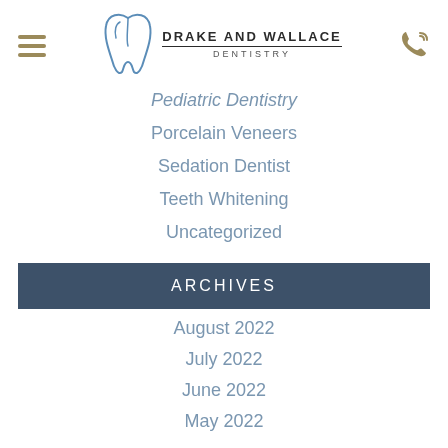Drake and Wallace Dentistry
Pediatric Dentistry
Porcelain Veneers
Sedation Dentist
Teeth Whitening
Uncategorized
ARCHIVES
August 2022
July 2022
June 2022
May 2022